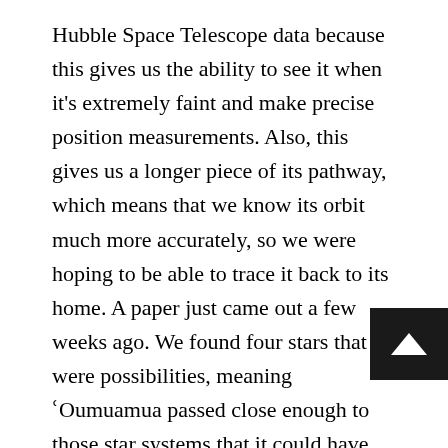Hubble Space Telescope data because this gives us the ability to see it when it's extremely faint and make precise position measurements. Also, this gives us a longer piece of its pathway, which means that we know its orbit much more accurately, so we were hoping to be able to trace it back to its home. A paper just came out a few weeks ago. We found four stars that were possibilities, meaning 'Oumuamua passed close enough to those star systems that it could have worked out. The only problem was its velocity while passing those star systems; its speed was too fast. The physics doesn't work out for kicking things out of those solar systems at those velocities. That means we don't know. Part of the experiment that enabled us to do this was that there was a satellite in space that was making very precise measurements of stars and their motions, and
[Figure (other): Black square button with white upward arrow icon]